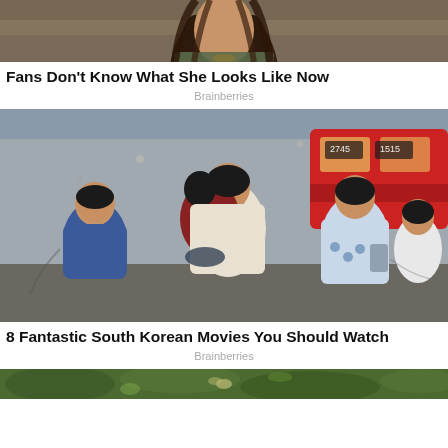[Figure (photo): Partial photo of a woman with long brown hair wearing a green top with a necklace, cropped at the face/shoulders]
Fans Don't Know What She Looks Like Now
Brainberries
[Figure (photo): Movie still from a Korean film showing a man carrying a child while running, with other people behind him and a red train in the background]
8 Fantastic South Korean Movies You Should Watch
Brainberries
[Figure (photo): Partial photo showing green foliage with what appears to be an insect or butterfly]